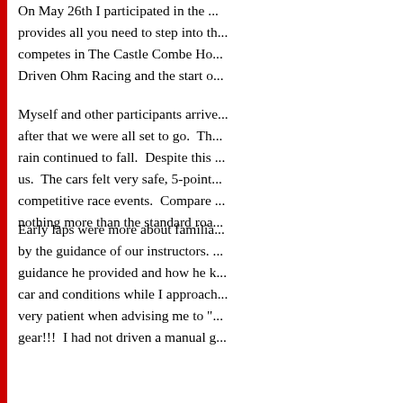On May 26th I participated in the ... provides all you need to step into th... competes in The Castle Combe Ho... Driven Ohm Racing and the start o...
Myself and other participants arrive... after that we were all set to go. Th... rain continued to fall. Despite this ... us. The cars felt very safe, 5-point... competitive race events. Compare ... nothing more than the standard roa...
Early laps were more about familia... by the guidance of our instructors. ... guidance he provided and how he k... car and conditions while I approach... very patient when advising me to "... gear!!! I had not driven a manual g...
After a sociable lunch with the gro... afternoon drives with a sunny sky a... lap brought more learning experien... oncoming traffic or "blue lights and... sheet of the track layout with sectio... at each point on the track. This wa... to take our learning forward for the...
All was perfect until about 4pm wh... cars leaving for the day. Just a few...